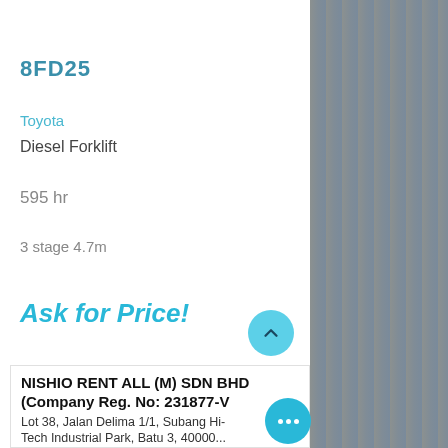[Figure (photo): Partial top photo of a forklift on gravel/pavement surface, cropped at top]
8FD25
Toyota
Diesel Forklift
595 hr
3 stage 4.7m
Ask for Price!
NISHIO RENT ALL (M) SDN BHD
(Company Reg. No: 231877-V
Lot 38, Jalan Delima 1/1, Subang Hi-
Tech Industrial Park, Batu 3, 40000...
[Figure (photo): Right side panel showing blurred urban street scene with signage, dark bluish-grey tones]